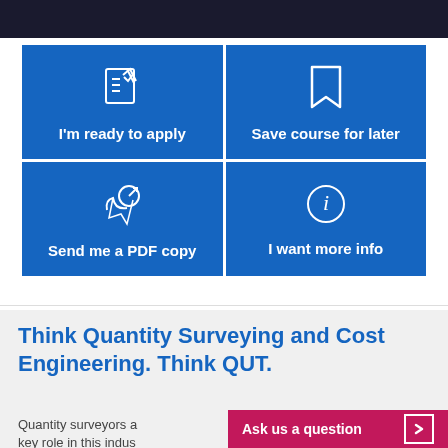[Figure (screenshot): Dark background image at top of page (partial crop of a photo)]
[Figure (infographic): 2x2 grid of blue call-to-action buttons: 'I'm ready to apply' (checklist icon), 'Save course for later' (bookmark icon), 'Send me a PDF copy' (PDF/arrow icon), 'I want more info' (info circle icon)]
Think Quantity Surveying and Cost Engineering. Think QUT.
Quantity surveyors a... key role in this indus...
Ask us a question